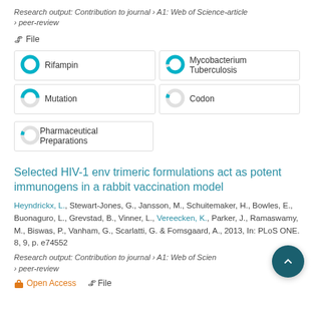Research output: Contribution to journal › A1: Web of Science-article › peer-review
File
[Figure (infographic): Five keyword badges with donut-style percentage indicators: Rifampin (100%), Mycobacterium Tuberculosis (~95%), Mutation (~50%), Codon (~7%), Pharmaceutical Preparations (~7%)]
Selected HIV-1 env trimeric formulations act as potent immunogens in a rabbit vaccination model
Heyndrickx, L., Stewart-Jones, G., Jansson, M., Schuitemaker, H., Bowles, E., Buonaguro, L., Grevstad, B., Vinner, L., Vereecken, K., Parker, J., Ramaswamy, M., Biswas, P., Vanham, G., Scarlatti, G. & Fomsgaard, A., 2013, In: PLoS ONE. 8, 9, p. e74552
Research output: Contribution to journal › A1: Web of Science-article › peer-review
Open Access   File